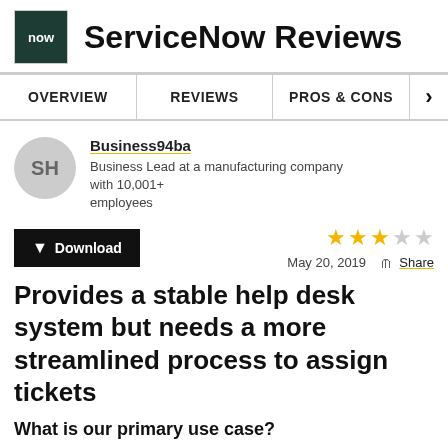ServiceNow Reviews
ServiceNow Reviews
OVERVIEW   REVIEWS   PROS & CONS
Business94ba
Business Lead at a manufacturing company with 10,001+ employees
★★★☆☆  May 20, 2019  Share
Provides a stable help desk system but needs a more streamlined process to assign tickets
What is our primary use case?